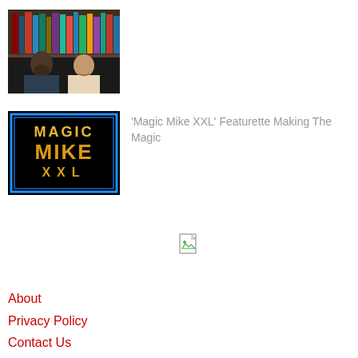[Figure (photo): Two people (man with beard and woman) in front of bookshelves, thumbnail image]
[Figure (photo): Magic Mike XXL movie logo on black background - gold metallic text with blue border frame]
'Magic Mike XXL' Featurette Making The Magic
[Figure (other): Broken/missing image placeholder icon]
About
Privacy Policy
Contact Us